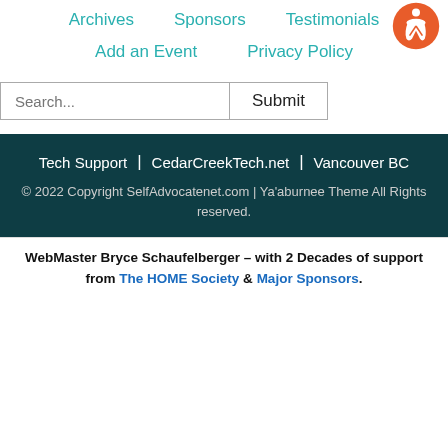Archives  |  Sponsors  |  Testimonials
Add an Event  |  Privacy Policy
Search... Submit
Tech Support | CedarCreekTech.net | Vancouver BC
© 2022 Copyright SelfAdvocatenet.com | Ya'aburnee Theme All Rights reserved.
WebMaster Bryce Schaufelberger – with 2 Decades of support from The HOME Society & Major Sponsors.